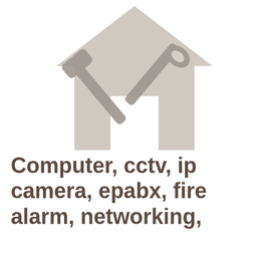[Figure (illustration): A light gray icon depicting a house with tools (hammer and wrench crossed) overlaid on it, representing home repair or technical services.]
Computer, cctv, ip camera, epabx, fire alarm, networking,